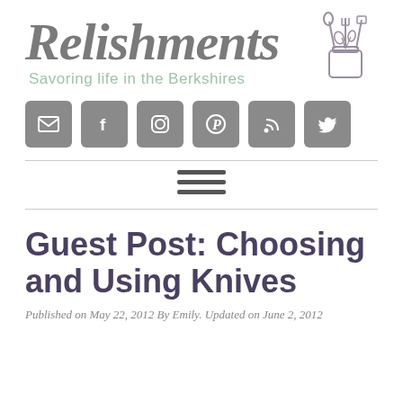[Figure (logo): Relishments blog logo with cursive text 'Relishments', subtitle 'Savoring life in the Berkshires', and a sketch of kitchen utensils in a jar]
[Figure (infographic): Row of six social media icon buttons (email, Facebook, Instagram, Pinterest, RSS, Twitter) in gray rounded squares]
[Figure (infographic): Hamburger menu icon (three horizontal lines)]
Guest Post: Choosing and Using Knives
Published on May 22, 2012 By Emily. Updated on June 2, 2012